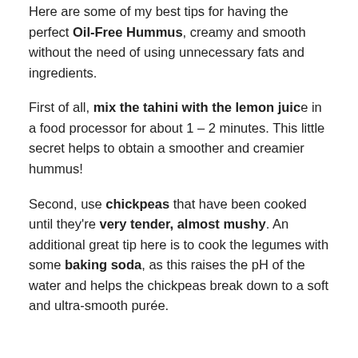Here are some of my best tips for having the perfect Oil-Free Hummus, creamy and smooth without the need of using unnecessary fats and ingredients.
First of all, mix the tahini with the lemon juice in a food processor for about 1 – 2 minutes. This little secret helps to obtain a smoother and creamier hummus!
Second, use chickpeas that have been cooked until they're very tender, almost mushy. An additional great tip here is to cook the legumes with some baking soda, as this raises the pH of the water and helps the chickpeas break down to a soft and ultra-smooth purée.